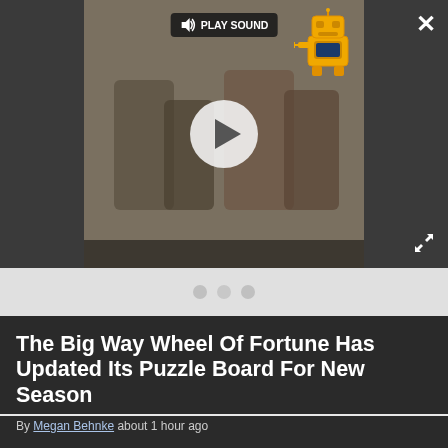[Figure (screenshot): Video player thumbnail showing people in background, with play button circle, PLAY SOUND label, robot/train mascot icon, close X button, and expand icon]
The Big Way Wheel Of Fortune Has Updated Its Puzzle Board For New Season
By Megan Behnke about 1 hour ago
[Figure (screenshot): Advertisement: Women's Fashion | Shop Online | VENUS — Shop the best in women's fashion, clothing, swimwear — venus.com — with Summer Sale image and circular blue button]